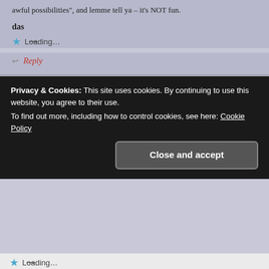awful possibilities", and lemme tell ya – it's NOT fun.
das
Loading...
Reply
JIMFROMJERSEY says:
12 MAR 2009 AT 4:41 AM
Thank you for posting images of the veritable feast yesterday. I had a sushi craving last night (thanks to you) and opted for spicy yellowtail roll and dragon roll (unagi,
Privacy & Cookies: This site uses cookies. By continuing to use this website, you agree to their use.
To find out more, including how to control cookies, see here: Cookie Policy
Close and accept
Loading...